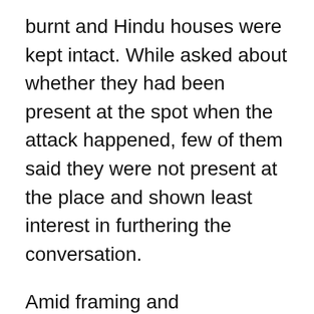burnt and Hindu houses were kept intact. While asked about whether they had been present at the spot when the attack happened, few of them said they were not present at the place and shown least interest in furthering the conversation.
Amid framing and victimization, arrests including that of children which began right few days after the aggressive attacks with fire, guns and swords stopped, Muslims in North East Delhi are facing media misrepresentations and unnamed FIRs. While the surviving of a communal attack on their physical and psychological existence, the Muslims in North East Delhi are facing the trouble of an already